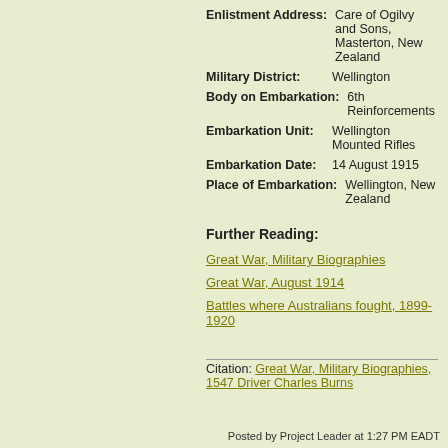Enlistment Address: Care of Ogilvy and Sons, Masterton, New Zealand
Military District: Wellington
Body on Embarkation: 6th Reinforcements
Embarkation Unit: Wellington Mounted Rifles
Embarkation Date: 14 August 1915
Place of Embarkation: Wellington, New Zealand
Further Reading:
Great War, Military Biographies
Great War, August 1914
Battles where Australians fought, 1899-1920
Citation: Great War, Military Biographies, 1547 Driver Charles Burns
Posted by Project Leader at 1:27 PM EADT